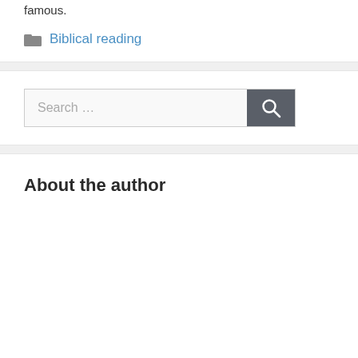famous.
Biblical reading
[Figure (screenshot): Search bar with text 'Search ...' and a dark gray search button with magnifying glass icon]
About the author